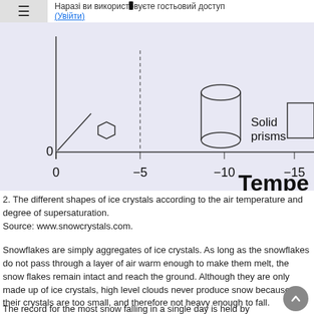≡ Наразі ви використовуєте гостьовий доступ (Увійти)
[Figure (illustration): Partial diagram showing different shapes of ice crystals plotted against temperature axis. Shows small hexagonal plates near 0°C and solid prisms near -10°C. X-axis labeled with values 0, -5, -10, -15 and partial label 'Tempe' (Temperature). Y-axis shows value 0.]
2. The different shapes of ice crystals according to the air temperature and degree of supersaturation.
Source: www.snowcrystals.com.
Snowflakes are simply aggregates of ice crystals. As long as the snowflakes do not pass through a layer of air warm enough to make them melt, the snow flakes remain intact and reach the ground. Although they are only made up of ice crystals, high level clouds never produce snow because their crystals are too small, and therefore not heavy enough to fall.
The record for the most snow falling in a single day is held by